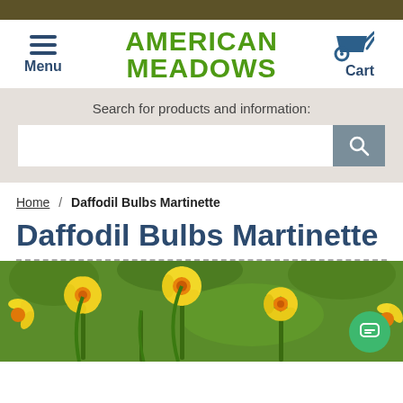American Meadows - Menu / Cart navigation header
Search for products and information:
Daffodil Bulbs Martinette
Home / Daffodil Bulbs Martinette
[Figure (photo): Close-up photograph of yellow daffodil flowers with orange centers against a green background. Partially visible at bottom of page.]